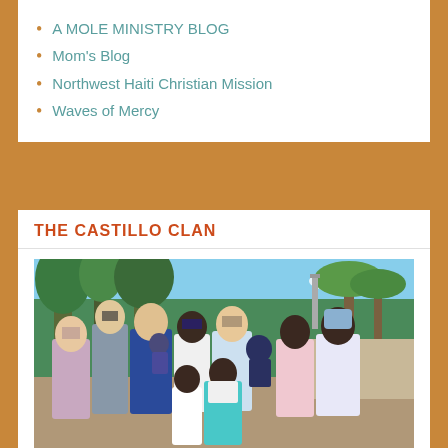A MOLE MINISTRY BLOG
Mom's Blog
Northwest Haiti Christian Mission
Waves of Mercy
THE CASTILLO CLAN
[Figure (photo): Group photo of the Castillo family with children and adults standing outdoors in front of tropical trees and a wall. The group includes approximately 10 people dressed in formal/semi-formal attire.]